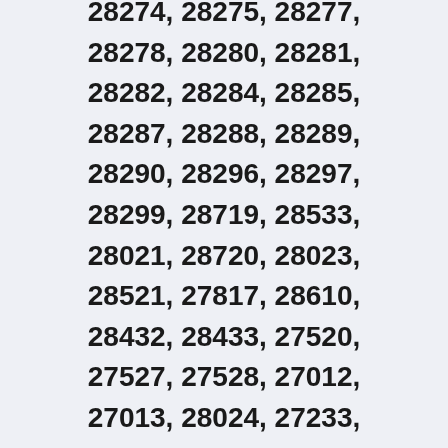28274, 28275, 28277, 28278, 28280, 28281, 28282, 28284, 28285, 28287, 28288, 28289, 28290, 28296, 28297, 28299, 28719, 28533, 28021, 28720, 28023, 28521, 27817, 28610, 28432, 28433, 27520, 27527, 27528, 27012, 27013, 28024, 27233, 28328, 28329, 28721, 27521, 27922, 27923, 27924, 27235, 28611, 27925, 28722, 28522, 27818, 28025, 28026